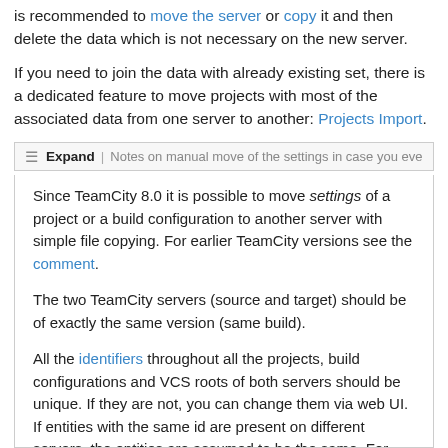is recommended to move the server or copy it and then delete the data which is not necessary on the new server.
If you need to join the data with already existing set, there is a dedicated feature to move projects with most of the associated data from one server to another: Projects Import.
Expand | Notes on manual move of the settings in case you ever w
Since TeamCity 8.0 it is possible to move settings of a project or a build configuration to another server with simple file copying. For earlier TeamCity versions see the comment.
The two TeamCity servers (source and target) should be of exactly the same version (same build).
All the identifiers throughout all the projects, build configurations and VCS roots of both servers should be unique. If they are not, you can change them via web UI. If entities with the same id are present on different servers, the entities are assumed to be the same. For example this is useful for having global set of VCS roots on all the servers.
To move settings of the project and all its build configuration from one server to another: